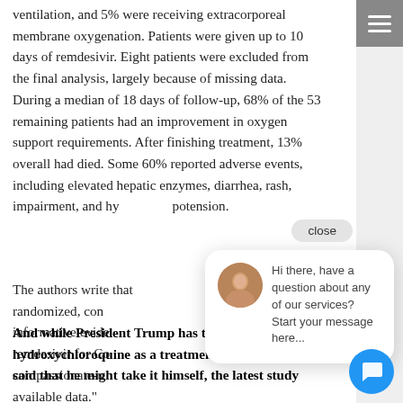ventilation, and 5% were receiving extracorporeal membrane oxygenation. Patients were given up to 10 days of remdesivir. Eight patients were excluded from the final analysis, largely because of missing data. During a median of 18 days of follow-up, 68% of the 53 remaining patients had an improvement in oxygen support requirements. After finishing treatment, 13% overall had died. Some 60% reported adverse events, including elevated hepatic enzymes, diarrhea, rash, impairment, and hypotension.
The authors write that while a randomized, controlled clinical trial would provide informative evidence, the compassionate-use data suggest that remdesivir for Covid-19 is promising, and that compassionate-use protocols represent an early look at available data."
And while President Trump has touted hydroxychloroquine as a treatment for Covid-19 and said that he might take it himself, the latest study